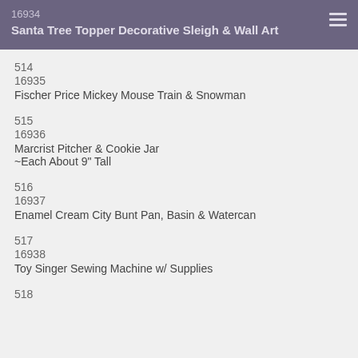16934
Santa Tree Topper Decorative Sleigh & Wall Art
514
16935
Fischer Price Mickey Mouse Train & Snowman
515
16936
Marcrist Pitcher & Cookie Jar
~Each About 9" Tall
516
16937
Enamel Cream City Bunt Pan, Basin & Watercan
517
16938
Toy Singer Sewing Machine w/ Supplies
518